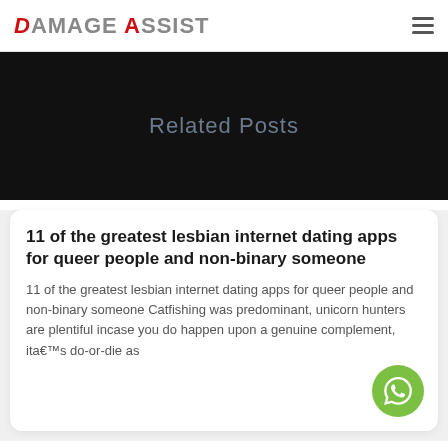DAMAGE ASSIST
Related Posts
11 of the greatest lesbian internet dating apps for queer people and non-binary someone
11 of the greatest lesbian internet dating apps for queer people and non-binary someone Catfishing was predominant, unicorn hunters are plentiful incase you do happen upon a genuine complement, ita€™s do-or-die as